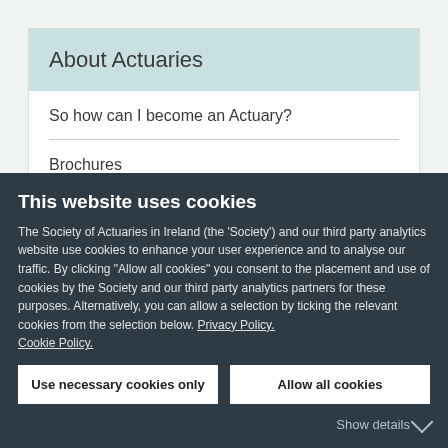About Actuaries
So how can I become an Actuary?
Brochures
Society of Actuaries in Ireland
This website uses cookies
The Society of Actuaries in Ireland (the 'Society') and our third party analytics website use cookies to enhance your user experience and to analyse our traffic. By clicking "Allow all cookies" you consent to the placement and use of cookies by the Society and our third party analytics partners for these purposes. Alternatively, you can allow a selection by ticking the relevant cookies from the selection below. Privacy Policy. Cookie Policy.
Use necessary cookies only
Allow all cookies
Show details